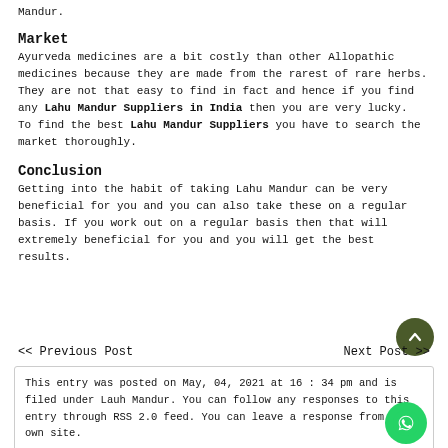Mandur.
Market
Ayurveda medicines are a bit costly than other Allopathic medicines because they are made from the rarest of rare herbs. They are not that easy to find in fact and hence if you find any Lahu Mandur Suppliers in India then you are very lucky.
To find the best Lahu Mandur Suppliers you have to search the market thoroughly.
Conclusion
Getting into the habit of taking Lahu Mandur can be very beneficial for you and you can also take these on a regular basis. If you work out on a regular basis then that will extremely beneficial for you and you will get the best results.
<< Previous Post
Next Post >>
This entry was posted on May, 04, 2021 at 16 : 34 pm and is filed under Lauh Mandur. You can follow any responses to this entry through RSS 2.0 feed. You can leave a response from your own site.